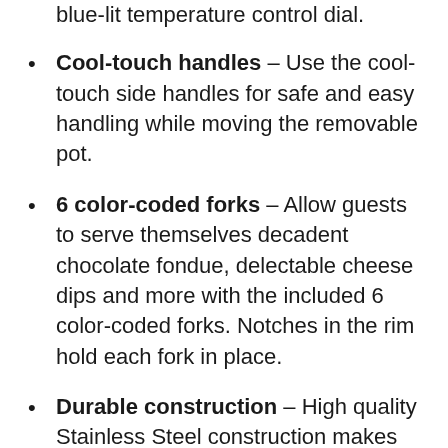blue-lit temperature control dial.
Cool-touch handles – Use the cool-touch side handles for safe and easy handling while moving the removable pot.
6 color-coded forks – Allow guests to serve themselves decadent chocolate fondue, delectable cheese dips and more with the included 6 color-coded forks. Notches in the rim hold each fork in place.
Durable construction – High quality Stainless Steel construction makes this a sleek and durable tabletop unit fit for any party centerpiece. Detachable parts are dishwasher safe for easy